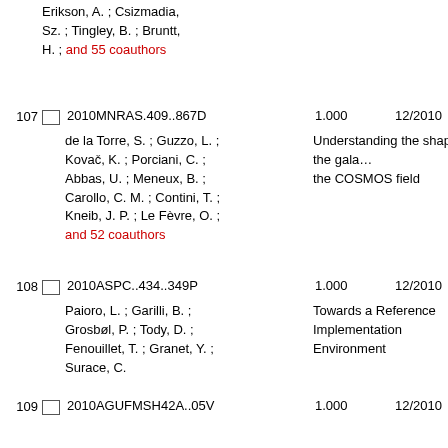Erikson, A. ; Csizmadia, Sz. ; Tingley, B. ; Bruntt, H. ; and 55 coauthors
107  2010MNRAS.409..867D  1.000  12/2010  A  de la Torre, S. ; Guzzo, L. ; Kovač, K. ; Porciani, C. ; Abbas, U. ; Meneux, B. ; Carollo, C. M. ; Contini, T. ; Kneib, J. P. ; Le Fèvre, O. ; and 52 coauthors  Understanding the shape of the galaxy two-point correlation function: bias and robustness of the results from the COSMOS field
108  2010ASPC..434..349P  1.000  12/2010  A  Paioro, L. ; Garilli, B. ; Grosbøl, P. ; Tody, D. ; Fenouillet, T. ; Granet, Y. ; Surace, C.  Towards a Reference Implementation of a Virtual Observatory Data Reduction Environment
109  2010AGUFMSH42A..05V  1.000  12/2010  A